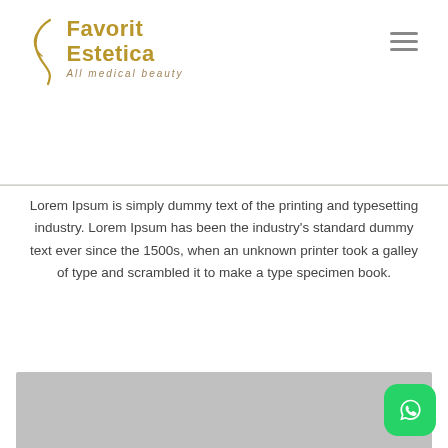Favorit Estetica – All medical beauty
Lorem Ipsum is simply dummy text of the printing and typesetting industry. Lorem Ipsum has been the industry's standard dummy text ever since the 1500s, when an unknown printer took a galley of type and scrambled it to make a type specimen book.
[Figure (other): Placeholder image box labeled 1100 X 600]